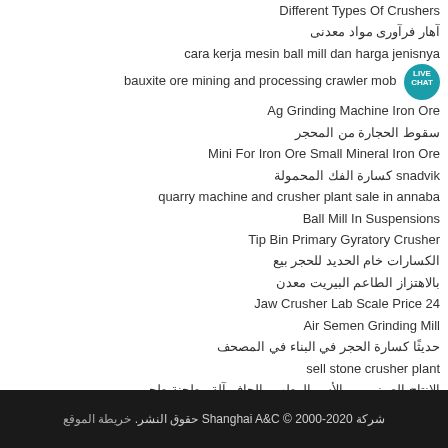Different Types Of Crushers
آهار فرآوری مواد معدنی
cara kerja mesin ball mill dan harga jenisnya
bauxite ore mining and processing crawler mob…
Ag Grinding Machine Iron Ore
سقوط الحجارة من المحجر
Mini For Iron Ore Small Mineral Iron Ore
snadvik كسارة الفك المحمولة
quarry machine and crusher plant sale in annaba
Ball Mill In Suspensions
Tip Bin Primary Gyratory Crusher
الكسارات خام الحديد للحجر بيع
بالاهتزاز الطاعم البيريت معدن
Jaw Crusher Lab Scale Price 24
Air Semen Grinding Mill
حديثًا كسارة الحجر في البناء في المصحف
sell stone crusher plant
الإنتاج الصيني من الأسر الرطب والجاف آلة مطحنة طحن
شركة Shanghai A&C © 2000-2020 حقوق النشر. خريطة الموقع